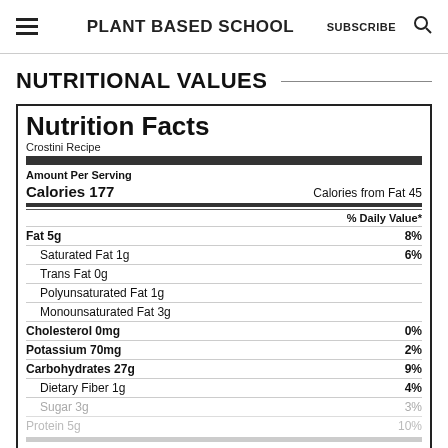PLANT BASED SCHOOL  SUBSCRIBE
NUTRITIONAL VALUES
| Nutrient | Amount | % Daily Value |
| --- | --- | --- |
| Amount Per Serving |  |  |
| Calories | 177 | Calories from Fat 45 |
| Fat 5g |  | 8% |
| Saturated Fat 1g |  | 6% |
| Trans Fat 0g |  |  |
| Polyunsaturated Fat 1g |  |  |
| Monounsaturated Fat 3g |  |  |
| Cholesterol 0mg |  | 0% |
| Potassium 70mg |  | 2% |
| Carbohydrates 27g |  | 9% |
| Dietary Fiber 1g |  | 4% |
| Sugar 3g |  | 3% |
| Protein 5g |  | 10% |
| Vitamin B6 0.1mg |  | 5% |